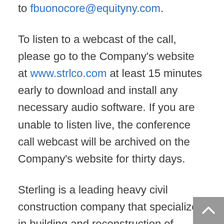to fbuonocore@equityny.com.
To listen to a webcast of the call, please go to the Company's website at www.strlco.com at least 15 minutes early to download and install any necessary audio software. If you are unable to listen live, the conference call webcast will be archived on the Company's website for thirty days.
Sterling is a leading heavy civil construction company that specializes in building and reconstruction of transportation and water infrastructure projects in Texas,